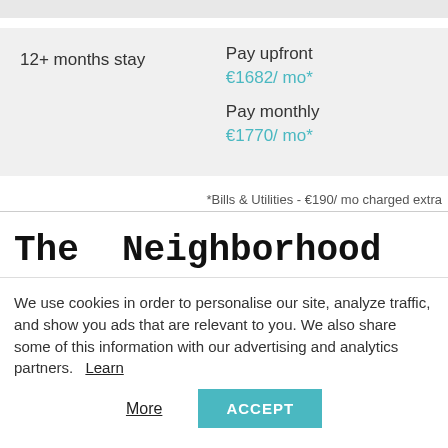| Stay | Pricing |
| --- | --- |
| 12+ months stay | Pay upfront
€1682/ mo*
Pay monthly
€1770/ mo* |
*Bills & Utilities - €190/ mo charged extra
The Neighborhood
We use cookies in order to personalise our site, analyze traffic, and show you ads that are relevant to you. We also share some of this information with our advertising and analytics partners. Learn More
ACCEPT